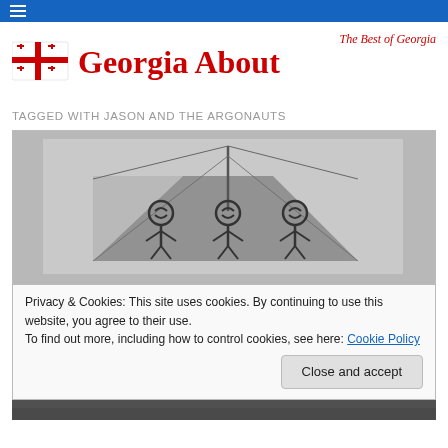[Figure (logo): Georgia About website logo with Georgian flag and red bold text 'Georgia About' and italic tagline 'The Best of Georgia']
TAGGED WITH JASON AND THE ARGONAUTS
[Figure (photo): Black and white drawing/etching of an ancient ship with a sail and three decorative figures with spiral motifs on the hull]
Privacy & Cookies: This site uses cookies. By continuing to use this website, you agree to their use.
To find out more, including how to control cookies, see here: Cookie Policy
Close and accept